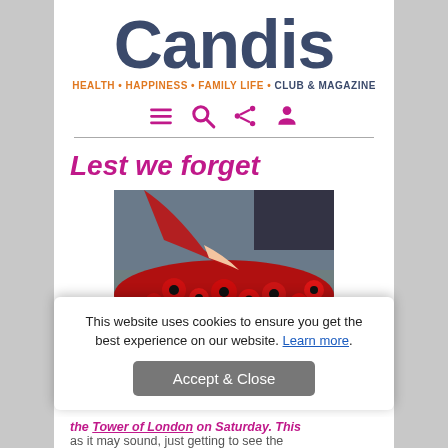[Figure (logo): Candis magazine logo — large bold dark navy text 'Candis' with tagline 'HEALTH • HAPPINESS • FAMILY LIFE • CLUB & MAGAZINE' below in orange and navy]
[Figure (infographic): Navigation icons: hamburger menu, search magnifier, share, and user/profile icons in magenta/pink]
Lest we forget
[Figure (photo): A hand placing a red poppy among many red poppies, person wearing red jacket with black wristband]
This website uses cookies to ensure you get the best experience on our website. Learn more.
Accept & Close
the Tower of London on Saturday. This as it may sound, just getting to see the